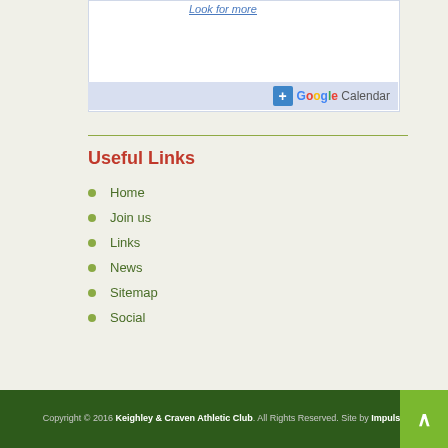[Figure (screenshot): Google Calendar embedded widget with 'Look for more' link and Google Calendar button at bottom]
Useful Links
Home
Join us
Links
News
Sitemap
Social
Copyright © 2016 Keighley & Craven Athletic Club. All Rights Reserved. Site by Impulse